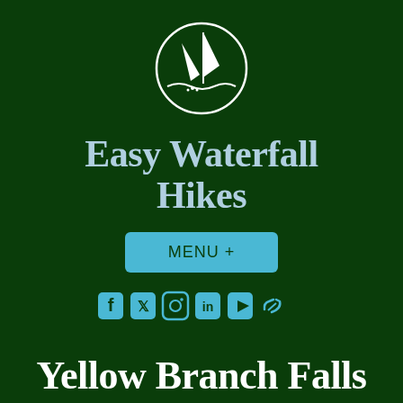[Figure (logo): White sailboat/waterfall logo inside a circle with wave at the bottom, on dark green background]
Easy Waterfall Hikes
MENU +
[Figure (infographic): Social media icons row: Facebook, Twitter, Instagram, LinkedIn, YouTube, link — all in cyan/teal color]
Yellow Branch Falls